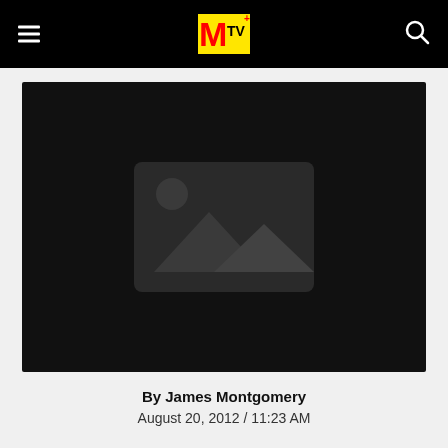MTV
[Figure (photo): Large dark placeholder image area with a grey image placeholder icon (mountains and sun) centered within a black background]
By James Montgomery
August 20, 2012 / 11:23 AM